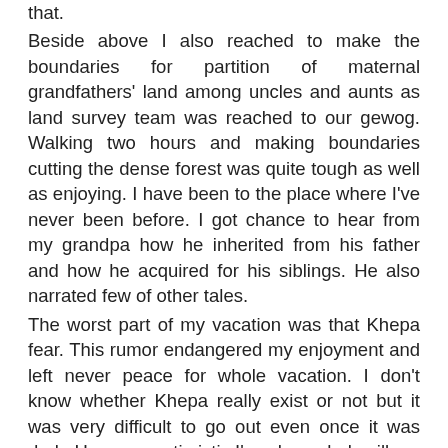that. Beside above I also reached to make the boundaries for partition of maternal grandfathers' land among uncles and aunts as land survey team was reached to our gewog. Walking two hours and making boundaries cutting the dense forest was quite tough as well as enjoying. I have been to the place where I've never been before. I got chance to hear from my grandpa how he inherited from his father and how he acquired for his siblings. He also narrated few of other tales. The worst part of my vacation was that Khepa fear. This rumor endangered my enjoyment and left never peace for whole vacation. I don't know whether Khepa really exist or not but it was very difficult to go out even once it was dark. However optimistic I'm when whole village was into this rumour and heard, there they saw, here they saw, late night they saw big torches flashing around their house, their house were locked form outside and so, I also veered automatically to their belief. I vividly remember how I slept for whole vacation. We all slept in one room  with sharp knife under pillow. And, bow and few poisoned arrow near pillow read to shoot if ever Khepa appears. I wondered whether we would